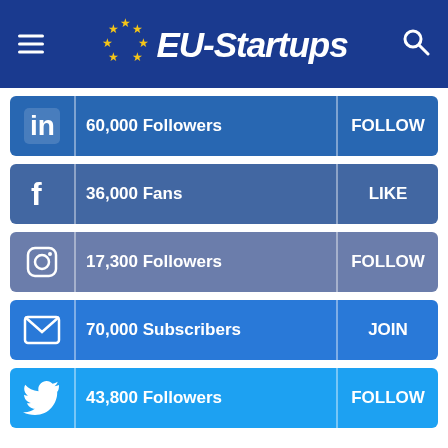EU-Startups
LinkedIn | 60,000 Followers | FOLLOW
Facebook | 36,000 Fans | LIKE
Instagram | 17,300 Followers | FOLLOW
Email | 70,000 Subscribers | JOIN
Twitter | 43,800 Followers | FOLLOW